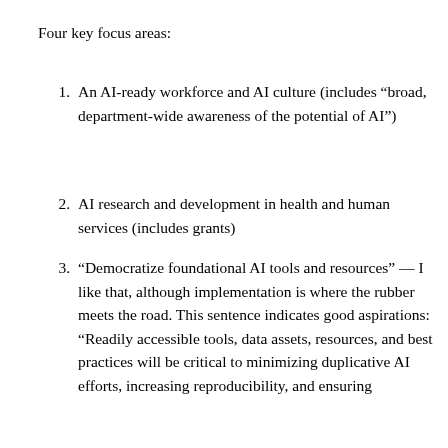Four key focus areas:
An AI-ready workforce and AI culture (includes “broad, department-wide awareness of the potential of AI”)
AI research and development in health and human services (includes grants)
“Democratize foundational AI tools and resources” — I like that, although implementation is where the rubber meets the road. This sentence indicates good aspirations: “Readily accessible tools, data assets, resources, and best practices will be critical to minimizing duplicative AI efforts, increasing reproducibility, and ensuring